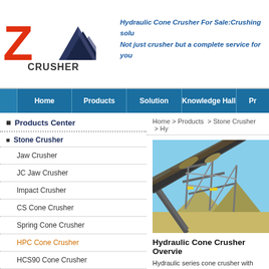[Figure (logo): Z Crusher logo with orange Z letter and dark mountain/triangle graphic, company name CRUSHER]
Hydraulic Cone Crusher For Sale:Crushing solu Not just crusher but a complete service for you
Home | Products | Solution | Knowledge Hall | Pr
Products Center
Stone Crusher
Jaw Crusher
JC Jaw Crusher
Impact Crusher
CS Cone Crusher
Spring Cone Crusher
HPC Cone Crusher
HCS90 Cone Crusher
VSI Crusher
VSI5X Crusher
Home > Products > Stone Crusher > Hy
[Figure (photo): Industrial conveyor belt structure / mining equipment at a quarry site, metal framework with conveyor belts against blue sky]
Hydraulic Cone Crusher Overvie
Hydraulic series cone crusher with high eff of high-tech crushers with world level effici technology and Chinese mental material fu greatly enhances working capacity and cru Nowarocks, Hydraulic rock cone crusher h for replacing spring cone crushers and no